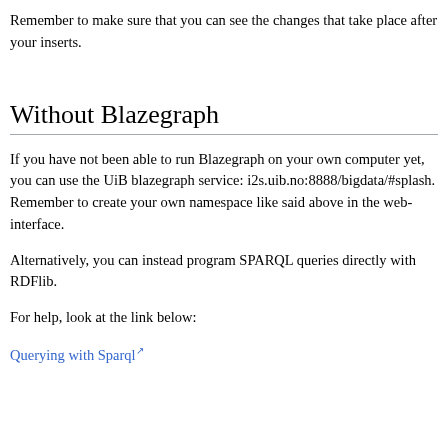Remember to make sure that you can see the changes that take place after your inserts.
Without Blazegraph
If you have not been able to run Blazegraph on your own computer yet, you can use the UiB blazegraph service: i2s.uib.no:8888/bigdata/#splash. Remember to create your own namespace like said above in the web-interface.
Alternatively, you can instead program SPARQL queries directly with RDFlib.
For help, look at the link below:
Querying with Sparql